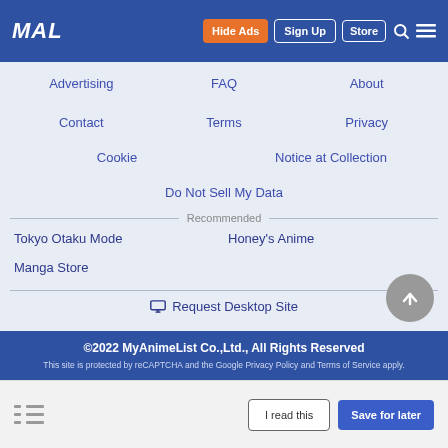MAL | Hide Ads | Sign Up | Store
Advertising
FAQ
About
Contact
Terms
Privacy
Cookie
Notice at Collection
Do Not Sell My Data
Recommended
Tokyo Otaku Mode
Honey's Anime
Manga Store
Request Desktop Site
©2022 MyAnimeList Co.,Ltd., All Rights Reserved
This site is protected by reCAPTCHA and the Google Privacy Policy and Terms of Service apply.